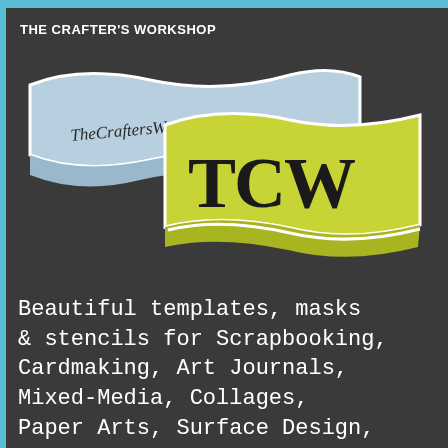THE CRAFTER'S WORKSHOP
[Figure (logo): The Crafter's Workshop logo: two overlapping wavy banner shapes, one light blue with 'TheCraftersWorkshop.com' in serif text, and one yellow-green with 'TCW' in large bold serif letters, on a dark charcoal background.]
Beautiful templates, masks & stencils for Scrapbooking, Cardmaking, Art Journals, Mixed-Media, Collages, Paper Arts, Surface Design,